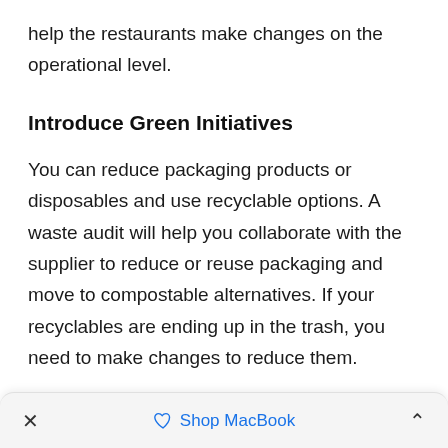help the restaurants make changes on the operational level.
Introduce Green Initiatives
You can reduce packaging products or disposables and use recyclable options. A waste audit will help you collaborate with the supplier to reduce or reuse packaging and move to compostable alternatives. If your recyclables are ending up in the trash, you need to make changes to reduce them.
A waste audit helps to schedule hauling and
× Shop MacBook ^